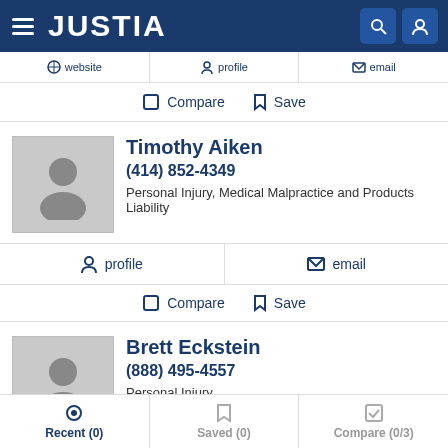JUSTIA
Compare   Save
Timothy Aiken
(414) 852-4349
Personal Injury, Medical Malpractice and Products Liability
profile   email
Compare   Save
Brett Eckstein
(888) 495-4557
Personal Injury
Recent (0)   Saved (0)   Compare (0/3)